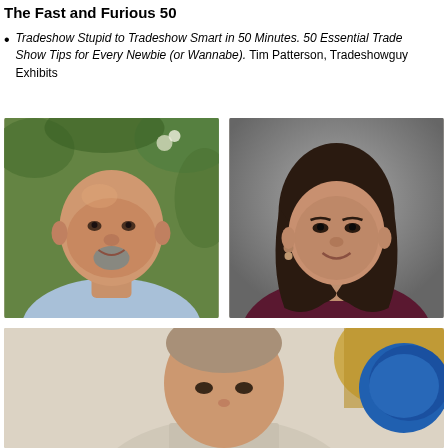The Fast and Furious 50
Tradeshow Stupid to Tradeshow Smart in 50 Minutes. 50 Essential Trade Show Tips for Every Newbie (or Wannabe). Tim Patterson, Tradeshowguy Exhibits
[Figure (photo): Headshot of a bald man with goatee smiling outdoors with green foliage background]
[Figure (photo): Headshot of a woman with dark hair smiling against a grey studio background]
[Figure (photo): Partial headshot of a man with a blue object visible, light beige background]